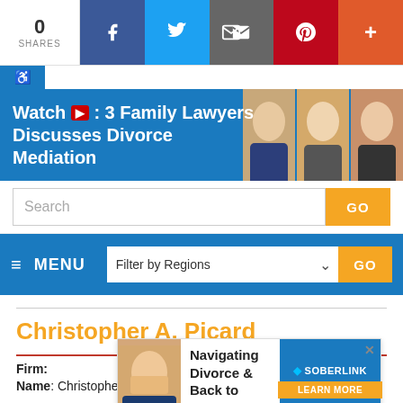[Figure (screenshot): Social sharing bar with 0 shares, Facebook, Twitter, Email, Pinterest, and plus buttons]
[Figure (screenshot): Banner with text 'Watch: 3 Family Lawyers Discusses Divorce Mediation' with photos of three lawyers]
[Figure (screenshot): Search bar with GO button]
[Figure (screenshot): Navigation menu bar with MENU label, Filter by Regions dropdown, and GO button]
Christopher A. Picard
Firm:
Name: Christopher A. Picard
[Figure (screenshot): Advertisement overlay: Navigating Divorce & Back to School, with Soberlink Learn More button]